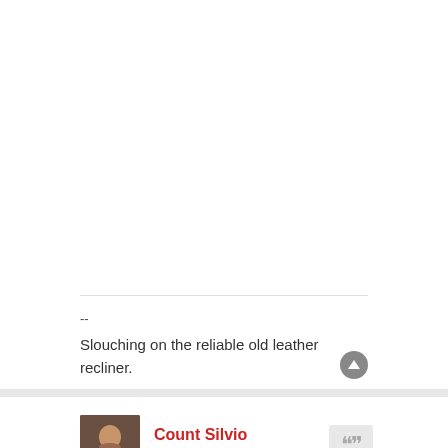--
Slouching on the reliable old leather recliner.
Count Silvio
Site Admin